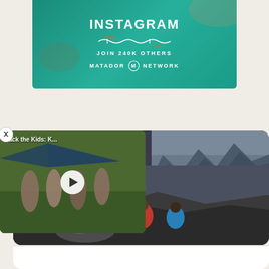[Figure (illustration): Instagram promotional banner for Matador Network on teal/ocean background with aerial water view. Text reads 'INSTAGRAM', 'JOIN 240K OTHERS', 'MATADOR NETWORK' with logo.]
[Figure (screenshot): Video thumbnail card overlaid on left side showing people jumping near a hang glider with label 'Pack the Kids: K...' and a white play button circle.]
[Figure (photo): Large main photo panel showing mountain landscape with glacier/fjord and two hikers with backpacks (red and blue) viewed from behind sitting on rocky terrain overlooking the scene.]